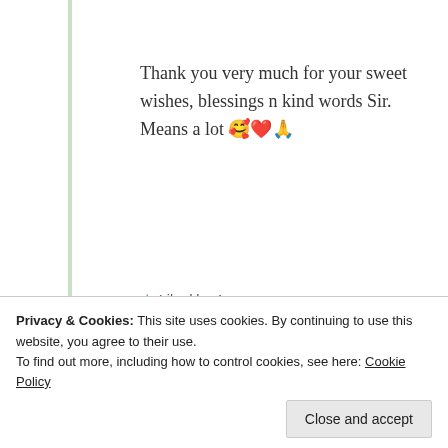Thank you very much for your sweet wishes, blessings n kind words Sir. Means a lot 🥰❤️🙏
★ Liked by 1 person
Log in to Reply
KK
Privacy & Cookies: This site uses cookies. By continuing to use this website, you agree to their use. To find out more, including how to control cookies, see here: Cookie Policy
Close and accept